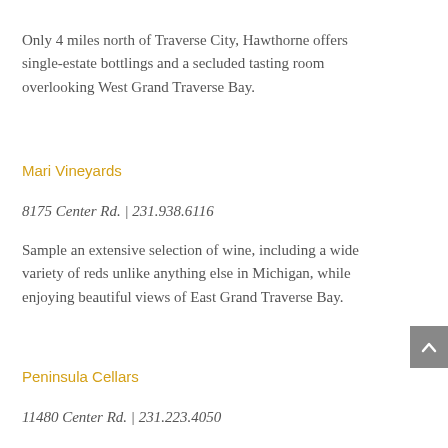Only 4 miles north of Traverse City, Hawthorne offers single-estate bottlings and a secluded tasting room overlooking West Grand Traverse Bay.
Mari Vineyards
8175 Center Rd.  |  231.938.6116
Sample an extensive selection of wine, including a wide variety of reds unlike anything else in Michigan, while enjoying beautiful views of East Grand Traverse Bay.
Peninsula Cellars
11480 Center Rd.  |  231.223.4050